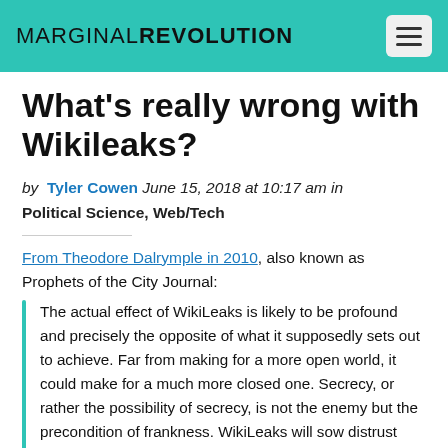MARGINALREVOLUTION
What’s really wrong with Wikileaks?
by Tyler Cowen June 15, 2018 at 10:17 am in Political Science, Web/Tech
From Theodore Dalrymple in 2010, also known as Prophets of the City Journal:
The actual effect of WikiLeaks is likely to be profound and precisely the opposite of what it supposedly sets out to achieve. Far from making for a more open world, it could make for a much more closed one. Secrecy, or rather the possibility of secrecy, is not the enemy but the precondition of frankness. WikiLeaks will sow distrust and fear, indeed paranoia; people will be increasingly unwilling to express themselves openly in case what they say is taken down by